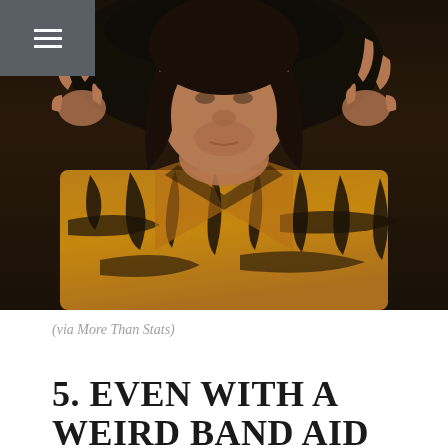≡
[Figure (photo): A man wearing a tiger-print jacket making peace/hand signs with both hands raised near his face, looking downward. The photo is slightly blurry with dark background.]
(via More Than Stats)
5. EVEN WITH A WEIRD BAND AID HE'S STILL ALL LIKE,